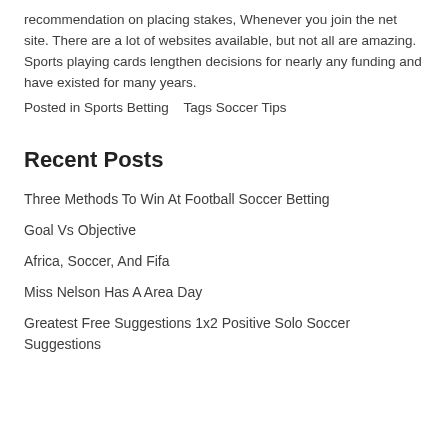recommendation on placing stakes, Whenever you join the net site. There are a lot of websites available, but not all are amazing. Sports playing cards lengthen decisions for nearly any funding and have existed for many years.
Posted in Sports Betting   Tags Soccer Tips
Recent Posts
Three Methods To Win At Football Soccer Betting
Goal Vs Objective
Africa, Soccer, And Fifa
Miss Nelson Has A Area Day
Greatest Free Suggestions 1x2 Positive Solo Soccer Suggestions